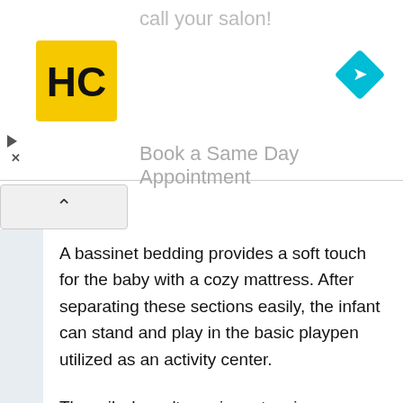[Figure (screenshot): Advertisement banner with 'call your salon!' text, HC logo, navigation icon, play button, close X, and 'Book a Same Day Appointment' text]
A bassinet bedding provides a soft touch for the baby with a cozy mattress. After separating these sections easily, the infant can stand and play in the basic playpen utilized as an activity center.
The crib doesn't require extensive configuration and can be deposited or reconstructed in minutes for maximum convenience.
It's also easily foldable, so you can assemble it away or reinsert it in seconds without any